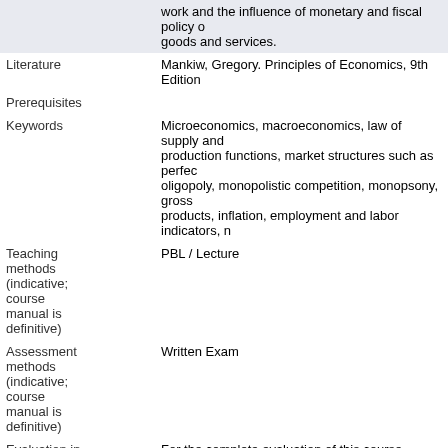work and the influence of monetary and fiscal policy o... goods and services.
Literature: Mankiw, Gregory. Principles of Economics, 9th Edition
Prerequisites
Keywords: Microeconomics, macroeconomics, law of supply and production functions, market structures such as perfec... oligopoly, monopolistic competition, monopsony, gross... products, inflation, employment and labor indicators, n...
Teaching methods (indicative; course manual is definitive): PBL / Lecture
Assessment methods (indicative; course manual is definitive): Written Exam
Evaluation in previous academic year: For the complete evaluation of this course please click
This course belongs to the following programmes /: Bachelor Business Engineering    Year 1 Compulsory